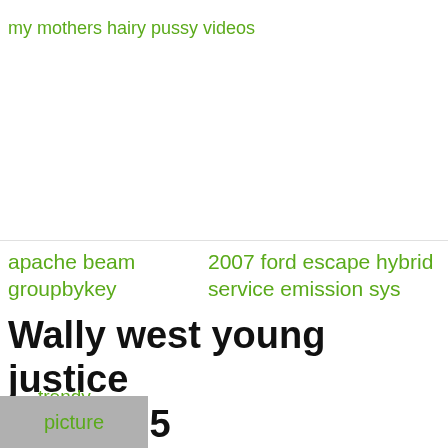my mothers hairy pussy videos
apache beam groupbykey
2007 ford escape hybrid service emission sys
Wally west young justice season 5
The penultimate episode of Young Justice season 4, "Over and Out," ended on a cliffhanger, with most of the heroes standing
trendy
picture